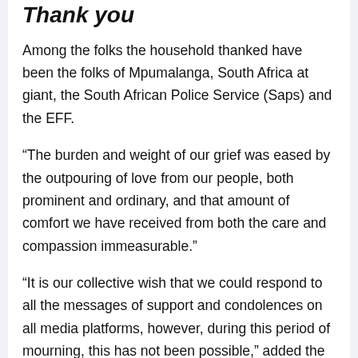Thank you
Among the folks the household thanked have been the folks of Mpumalanga, South Africa at giant, the South African Police Service (Saps) and the EFF.
“The burden and weight of our grief was eased by the outpouring of love from our people, both prominent and ordinary, and that amount of comfort we have received from both the care and compassion immeasurable.”
“It is our collective wish that we could respond to all the messages of support and condolences on all media platforms, however, during this period of mourning, this has not been possible,” added the household.